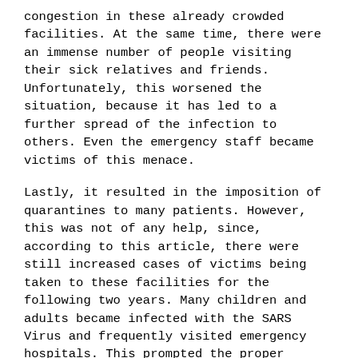congestion in these already crowded facilities. At the same time, there were an immense number of people visiting their sick relatives and friends. Unfortunately, this worsened the situation, because it has led to a further spread of the infection to others. Even the emergency staff became victims of this menace.
Lastly, it resulted in the imposition of quarantines to many patients. However, this was not of any help, since, according to this article, there were still increased cases of victims being taken to these facilities for the following two years. Many children and adults became infected with the SARS Virus and frequently visited emergency hospitals. This prompted the proper planning on how to cope up with them (Croskerry P.S., 2004).
Indeed, this crisis was similar to the United States September 9th bomb blast, because it was so abrupt. Their effects were felt both in health and economic